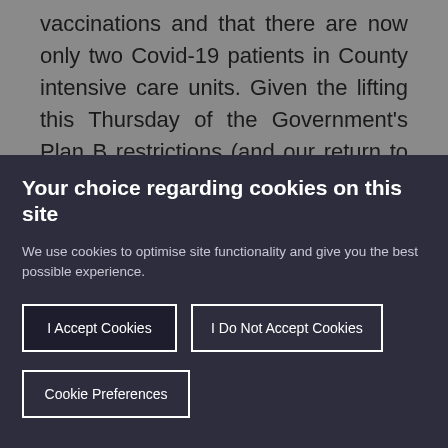vaccinations and that there are now only two Covid-19 patients in County intensive care units. Given the lifting this Thursday of the Government's Plan B restrictions (and our return to Plan A) continued adherence to all official guidance and regular self-testing will remain vital tools to help keep one another and our
Your choice regarding cookies on this site
We use cookies to optimise site functionality and give you the best possible experience.
I Accept Cookies
I Do Not Accept Cookies
Cookie Preferences